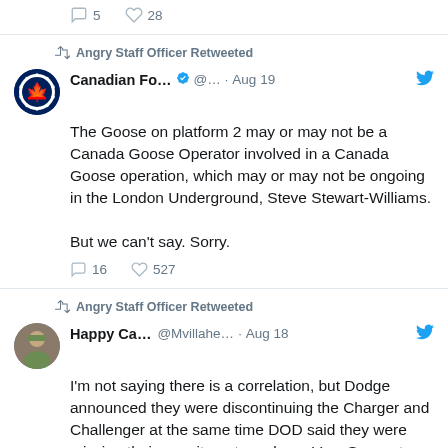[Figure (screenshot): Partial tweet card showing reply/like counts: 5 replies, 28 likes]
Angry Staff Officer Retweeted
Canadian Fo... ✓ @... · Aug 19
The Goose on platform 2 may or may not be a Canada Goose Operator involved in a Canada Goose operation, which may or may not be ongoing in the London Underground, Steve Stewart-Williams.

But we can't say. Sorry.
16 replies, 527 likes
Angry Staff Officer Retweeted
Happy Ca... @Mvillahe... · Aug 18
I'm not saying there is a correlation, but Dodge announced they were discontinuing the Charger and Challenger at the same time DOD said they were missing their recruitment numbers. Very Suspect.